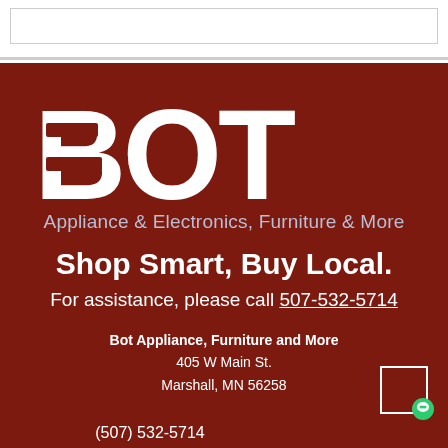[Figure (logo): BOT logo — large white bold letters BOT on dark red background]
Appliance & Electronics, Furniture & More
Shop Smart, Buy Local.
For assistance, please call 507-532-5714
Bot Appliance, Furniture and More
405 W Main St.
Marshall, MN 56258
(507) 532-5714